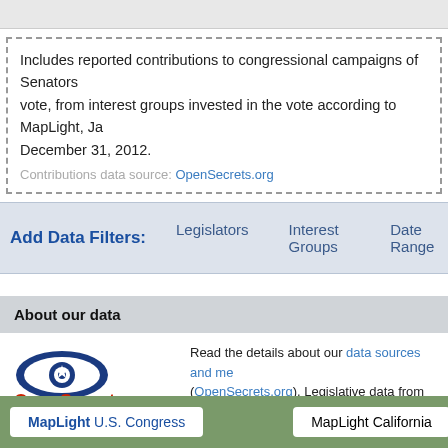Includes reported contributions to congressional campaigns of Senators who vote, from interest groups invested in the vote according to MapLight, January 1, 2007 - December 31, 2012.
Contributions data source: OpenSecrets.org
Add Data Filters:   Legislators   Interest Groups   Date Range
About our data
[Figure (logo): OpenSecrets.org Center for Responsive Politics logo with blue eye graphic and red text]
Read the details about our data sources and methodology (OpenSecrets.org). Legislative data from GovTrack. Data returned by this service is subject to the use. understand that you are using the data subject to all applicable local, state a BY-NC-SA license. By downloading data, you are agreeing to the terms of the must be attributed to FollowTheMoney.org.
MapLight U.S. Congress   MapLight California